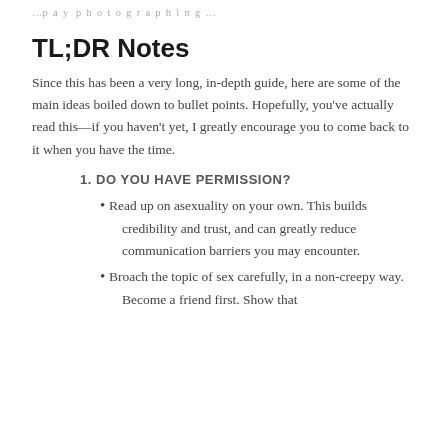…p…a…y…p…h…o…t…o…g…r…a…p…h…i…n…g…
TL;DR Notes
Since this has been a very long, in-depth guide, here are some of the main ideas boiled down to bullet points. Hopefully, you've actually read this—if you haven't yet, I greatly encourage you to come back to it when you have the time.
1. DO YOU HAVE PERMISSION?
Read up on asexuality on your own. This builds credibility and trust, and can greatly reduce communication barriers you may encounter.
Broach the topic of sex carefully, in a non-creepy way. Become a friend first. Show that